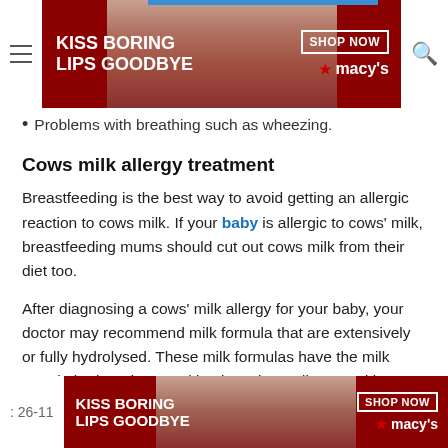[Figure (screenshot): Advertisement banner at top: 'KISS BORING LIPS GOODBYE' Macy's ad with red lipstick model, SHOP NOW button]
Problems with breathing such as wheezing.
Cows milk allergy treatment
Breastfeeding is the best way to avoid getting an allergic reaction to cows milk. If your baby is allergic to cows' milk, breastfeeding mums should cut out cows milk from their diet too.
After diagnosing a cows' milk allergy for your baby, your doctor may recommend milk formula that are extensively or fully hydrolysed. These milk formulas have the milk protein broken down making it easier to digest and less likely to cause an allergy.
[Figure (screenshot): Advertisement banner at bottom: 'KISS BORING LIPS GOODBYE' Macy's ad with SHOP NOW button and CLOSE button above it]